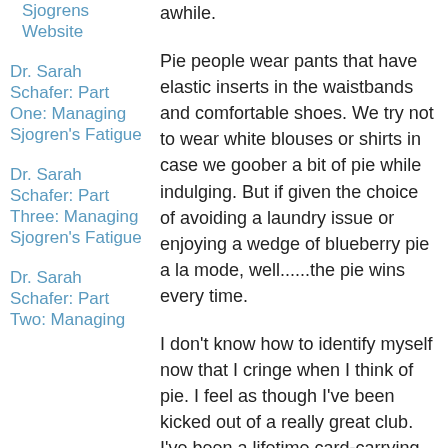Sjogrens Website
Dr. Sarah Schafer: Part One: Managing Sjogren's Fatigue
Dr. Sarah Schafer: Part Three: Managing Sjogren's Fatigue
Dr. Sarah Schafer: Part Two: Managing
awhile.
Pie people wear pants that have elastic inserts in the waistbands and comfortable shoes. We try not to wear white blouses or shirts in case we goober a bit of pie while indulging. But if given the choice of avoiding a laundry issue or enjoying a wedge of blueberry pie a la mode, well......the pie wins every time.
I don't know how to identify myself now that I cringe when I think of pie. I feel as though I've been kicked out of a really great club. I've been a lifetime card-carrying pie club member.......